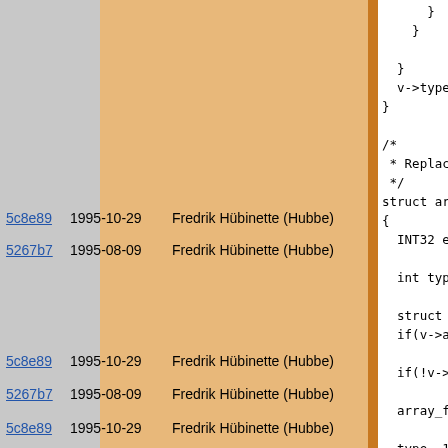| commit | date | author | code |
| --- | --- | --- | --- |
| 5c8e89 | 1995-10-29 | Fredrik Hübinette (Hubbe) | int type; |
| 5267b7 | 1995-08-09 | Fredrik Hübinette (Hubbe) | struct array
if(v->array_

if(!v->size)

array_fix_ty |
| 5c8e89 | 1995-10-29 | Fredrik Hübinette (Hubbe) | type=-1; |
| 5267b7 | 1995-08-09 | Fredrik Hübinette (Hubbe) | switch(v->ty
{ |
| 5c8e89 | 1995-10-29 | Fredrik Hübinette (Hubbe) | case BIT_INT
case BIT_INT
case BIT_INT |
[Figure (screenshot): Source code annotation view showing git blame columns (commit hash, date, author) on left with corresponding C source code on the right. Code includes struct definitions, function calls, and switch statements.]